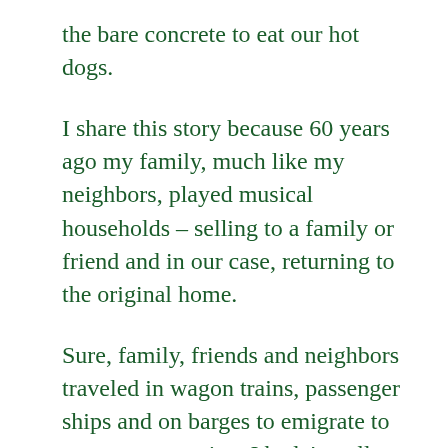the bare concrete to eat our hot dogs.
I share this story because 60 years ago my family, much like my neighbors, played musical households – selling to a family or friend and in our case, returning to the original home.
Sure, family, friends and neighbors traveled in wagon trains, passenger ships and on barges to emigrate to a new community.  I hadn't really thought much about that being a common custom continuing today until my back yard chat with those “new” “old” neighbors yesterday.
In this ever changing world that requires